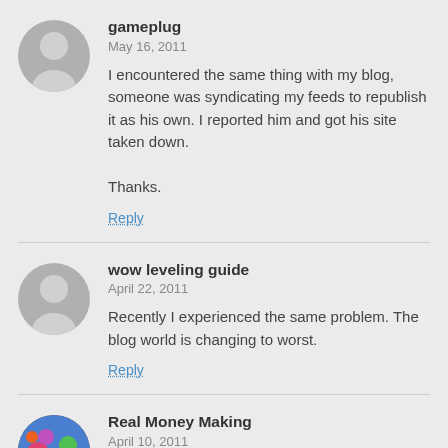gameplug
May 16, 2011
I encountered the same thing with my blog, someone was syndicating my feeds to republish it as his own. I reported him and got his site taken down.

Thanks.
Reply
wow leveling guide
April 22, 2011
Recently I experienced the same problem. The blog world is changing to worst.
Reply
Real Money Making
April 10, 2011
Great post about copyright laws – Thanks 4 sharing
Reply